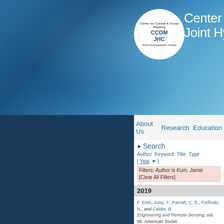[Figure (logo): CCOM JHC circular logo with ocean mapping imagery]
Center for Coastal & Ocean Mapping / Joint Hydrographic Center
About Us  Research  Education
Search
Author Keyword Title Type [ Year ]
Filters: Author is Kum, Jamie  [Clear All Filters]
2019
F. Eren, Jung, J., Parrish, C. E., Forfinski, N., and Calder, B., Engineering and Remote Sensing, vol. 85. American Society...
2018
F. Eren, Pe'eri, S., Rzhanov, Y., and Ward, L. G., "Bottom Return Residual Analysis", Remote Sensing a...
M. Birkebak, Eren, F., Pe'eri, S., and Weston, N., "The Effe... Sensing: Special Issue – Advances in Undersea Remote Sen...